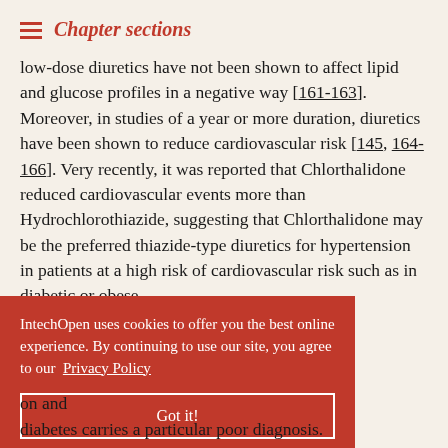Chapter sections
low-dose diuretics have not been shown to affect lipid and glucose profiles in a negative way [161-163]. Moreover, in studies of a year or more duration, diuretics have been shown to reduce cardiovascular risk [145, 164-166]. Very recently, it was reported that Chlorthalidone reduced cardiovascular events more than Hydrochlorothiazide, suggesting that Chlorthalidone may be the preferred thiazide-type diuretics for hypertension in patients at a high risk of cardiovascular risk such as in diabetic or obese
IntechOpen uses cookies to offer you the best online experience. By continuing to use our site, you agree to our Privacy Policy
Got it!
on and diabetes carries a particular poor diagnosis.